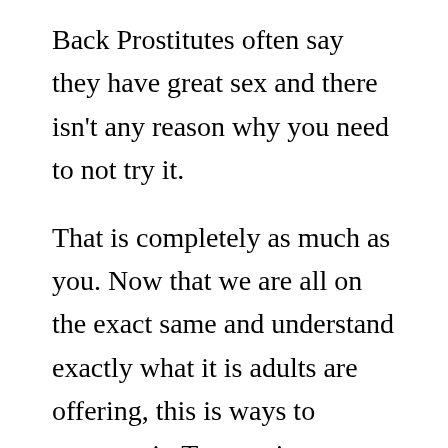Back Prostitutes often say they have great sex and there isn't any reason why you need to not try it.
That is completely as much as you. Now that we are all on the exact same and understand exactly what it is adults are offering, this is ways to promote it. Type a city or choose from below search. One way to get a fantastic reputation in the business is to become a member of a website.